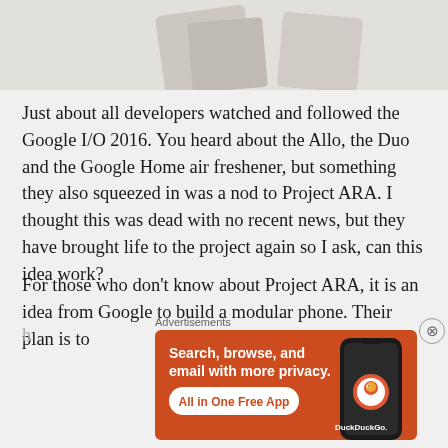[Figure (photo): Partial image of a device (likely a phone or tablet) on a light grey background, cropped at the top of the page]
Just about all developers watched and followed the Google I/O 2016. You heard about the Allo, the Duo and the Google Home air freshener, but something they also squeezed in was a nod to Project ARA. I thought this was dead with no recent news, but they have brought life to the project again so I ask, can this idea work?
For those who don't know about Project ARA, it is an idea from Google to build a modular phone. Their plan is to
[Figure (screenshot): DuckDuckGo advertisement banner with orange background. Text reads: 'Search, browse, and email with more privacy. All in One Free App' with DuckDuckGo logo and a phone graphic. Labeled 'Advertisements' above the banner.]